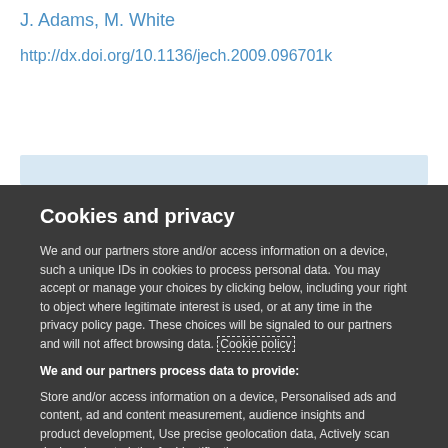J. Adams, M. White
http://dx.doi.org/10.1136/jech.2009.096701k
Cookies and privacy
We and our partners store and/or access information on a device, such a unique IDs in cookies to process personal data. You may accept or manage your choices by clicking below, including your right to object where legitimate interest is used, or at any time in the privacy policy page. These choices will be signaled to our partners and will not affect browsing data. Cookie policy
We and our partners process data to provide:
Store and/or access information on a device, Personalised ads and content, ad and content measurement, audience insights and product development, Use precise geolocation data, Actively scan device characteristics for identification
List of Partners (vendors)
I Accept